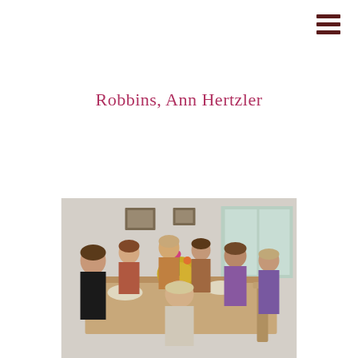Robbins, Ann Hertzler
[Figure (photo): Group of women seated around a dining table with food and decorations, indoor setting with windows in background]
Dr. Roberta Minish, Martha Cable, Dot Herndon, Caryl Gray, Gail MacMilllan, Frances Graham Trent, Je . . .
[Figure (photo): Group of women standing indoors, clock visible on wall in background]